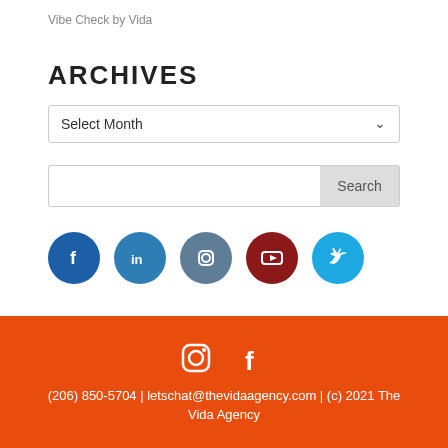Vibe Check by Vida
ARCHIVES
Select Month (dropdown)
Search (search box)
[Figure (infographic): Row of 5 social media icon circles: Facebook (blue), LinkedIn (blue), Instagram (grey-blue), YouTube (dark red), Twitter (light blue)]
(206) 850-5704 | letschat@thevidaagency.com | (c) 2021 The Vida Agency